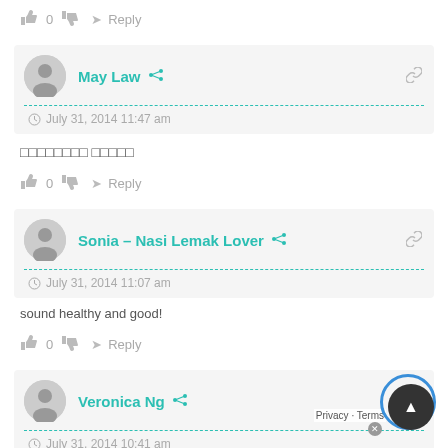👍 0 👎 ➜ Reply
May Law — July 31, 2014 11:47 am
□□□□□□□□ □□□□□
👍 0 👎 ➜ Reply
Sonia – Nasi Lemak Lover — July 31, 2014 11:07 am
sound healthy and good!
👍 0 👎 ➜ Reply
Veronica Ng — July 31, 2014 10:41 am